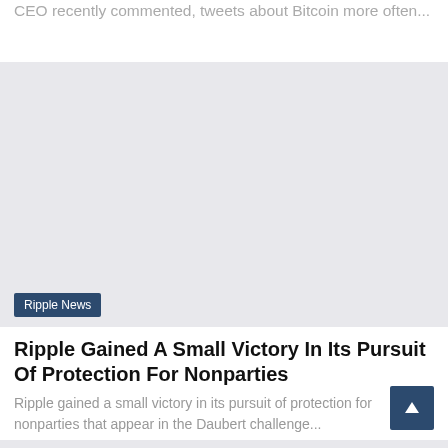CEO recently commented, tweets about Bitcoin more often...
[Figure (photo): Gray placeholder image for a Ripple News article with a 'Ripple News' badge in the lower left corner]
Ripple Gained A Small Victory In Its Pursuit Of Protection For Nonparties
Ripple gained a small victory in its pursuit of protection for nonparties that appear in the Daubert challenge...